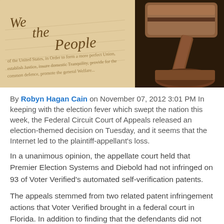[Figure (photo): Photograph of the U.S. Constitution (showing 'We the People' text) alongside a wooden judge's gavel on a dark surface.]
By Robyn Hagan Cain on November 07, 2012 3:01 PM In keeping with the election fever which swept the nation this week, the Federal Circuit Court of Appeals released an election-themed decision on Tuesday, and it seems that the Internet led to the plaintiff-appellant's loss.
In a unanimous opinion, the appellate court held that Premier Election Systems and Diebold had not infringed on 93 of Voter Verified's automated self-verification patents.
The appeals stemmed from two related patent infringement actions that Voter Verified brought in a federal court in Florida. In addition to finding that the defendants did not infringe on Voter Verified's Patents 1-93, the district court